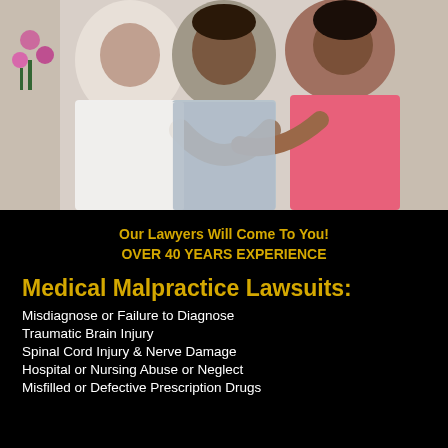[Figure (photo): A elderly patient in a hospital gown being comforted by two people, one in a white coat and one in a pink shirt, in a medical setting.]
Our Lawyers Will Come To You!
OVER 40 YEARS EXPERIENCE
Medical Malpractice Lawsuits:
Misdiagnose or Failure to Diagnose
Traumatic Brain Injury
Spinal Cord Injury & Nerve Damage
Hospital or Nursing Abuse or Neglect
Misfilled or Defective Prescription Drugs